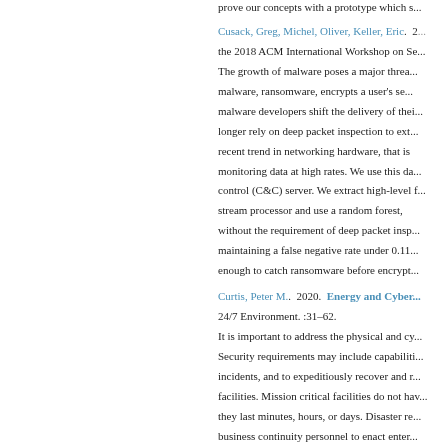prove our concepts with a prototype which s...
Cusack, Greg, Michel, Oliver, Keller, Eric. 2[...] the 2018 ACM International Workshop on Se... The growth of malware poses a major threa... malware, ransomware, encrypts a user's se... malware developers shift the delivery of thei... longer rely on deep packet inspection to ext... recent trend in networking hardware, that is... monitoring data at high rates. We use this d... control (C&C) server. We extract high-level f... stream processor and use a random forest,... without the requirement of deep packet insp... maintaining a false negative rate under 0.11... enough to catch ransomware before encrypt...
Curtis, Peter M.. 2020. Energy and Cyber... 24/7 Environment. :31–62. It is important to address the physical and cy... Security requirements may include capabiliti... incidents, and to expeditiously recover and r... facilities. Mission critical facilities do not hav... they last minutes, hours, or days. Disaster re... business continuity personnel to enact enter... security and mitigate the threat of cyber-att... information technology.
Curry, Amanda Cercas, Hastie, Helen, Riese... Proceedings of the 1st ACM SIGCHI Interna... In contrast with goal-oriented dialogue, socia...